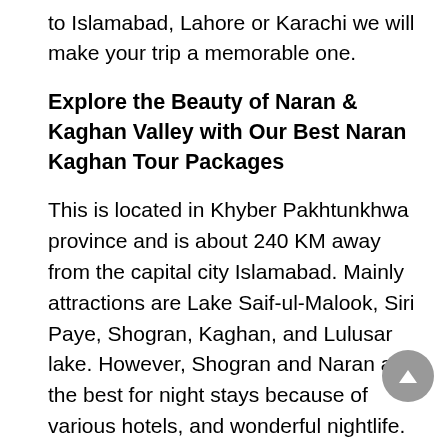to Islamabad, Lahore or Karachi we will make your trip a memorable one.
Explore the Beauty of Naran & Kaghan Valley with Our Best Naran Kaghan Tour Packages
This is located in Khyber Pakhtunkhwa province and is about 240 KM away from the capital city Islamabad. Mainly attractions are Lake Saif-ul-Malook, Siri Paye, Shogran, Kaghan, and Lulusar lake. However, Shogran and Naran are the best for night stays because of various hotels, and wonderful nightlife.
Our cheap Naran Kaghan tour package attracts